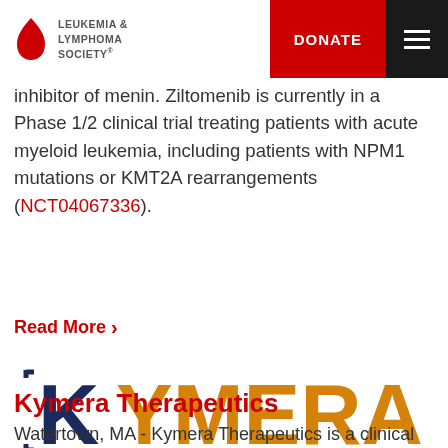Leukemia & Lymphoma Society | DONATE
inhibitor of menin. Ziltomenib is currently in a Phase 1/2 clinical trial treating patients with acute myeloid leukemia, including patients with NPM1 mutations or KMT2A rearrangements (NCT04067336).
Read More >
[Figure (logo): Kymera Therapeutics logo with dark navy K and orange/amber YMERA text]
Kymera Therapeutics
Watertown, MA - Kymera Therapeutics is a clinical